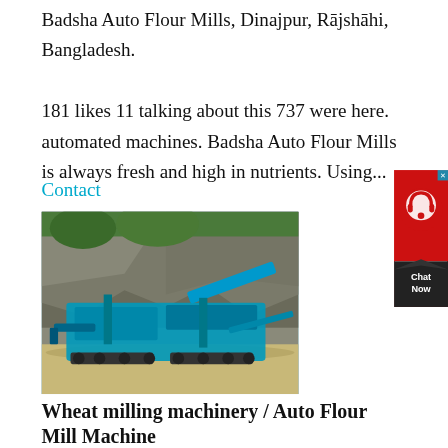Badsha Auto Flour Mills, Dinajpur, Rājshāhi, Bangladesh.
181 likes 11 talking about this 737 were here. automated machines. Badsha Auto Flour Mills is always fresh and high in nutrients. Using...
Contact
[Figure (photo): A large blue mobile wheat milling / crushing machine photographed outdoors near rocky terrain.]
Wheat milling machinery / Auto Flour Mill Machine
We provide turn-key solution of mill in Bangladesh, India, Pakistan, Afghanistan, Africa, South America, Algeria, Nigeria, etc. We make the foundation, factory building and ...